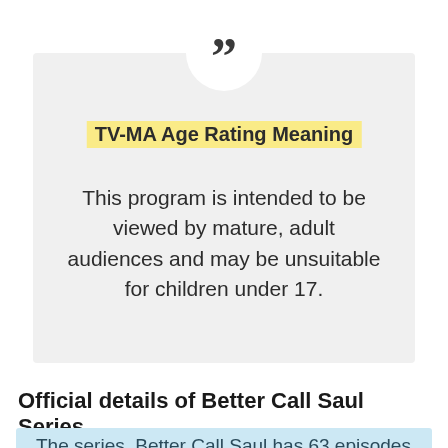TV-MA Age Rating Meaning
This program is intended to be viewed by mature, adult audiences and may be unsuitable for children under 17.
Official details of Better Call Saul Series
The series, Better Call Saul has 63 episodes